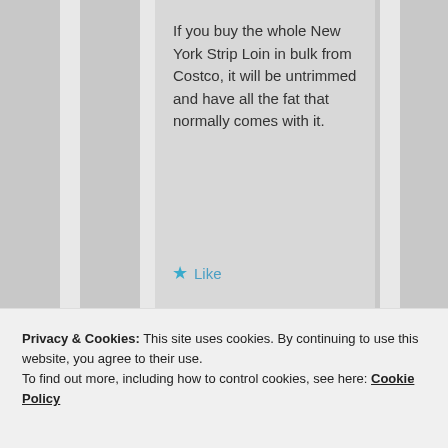If you buy the whole New York Strip Loin in bulk from Costco, it will be untrimmed and have all the fat that normally comes with it.
★ Like
Joe. K.
live in the US so no
Privacy & Cookies: This site uses cookies. By continuing to use this website, you agree to their use. To find out more, including how to control cookies, see here: Cookie Policy